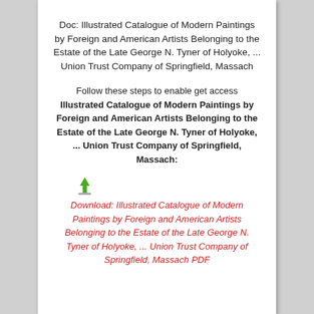Doc: Illustrated Catalogue of Modern Paintings by Foreign and American Artists Belonging to the Estate of the Late George N. Tyner of Holyoke, ... Union Trust Company of Springfield, Massach
Follow these steps to enable get access Illustrated Catalogue of Modern Paintings by Foreign and American Artists Belonging to the Estate of the Late George N. Tyner of Holyoke, ... Union Trust Company of Springfield, Massach:
[Figure (illustration): Small green download arrow icon above a grey base]
Download: Illustrated Catalogue of Modern Paintings by Foreign and American Artists Belonging to the Estate of the Late George N. Tyner of Holyoke, ... Union Trust Company of Springfield, Massach PDF